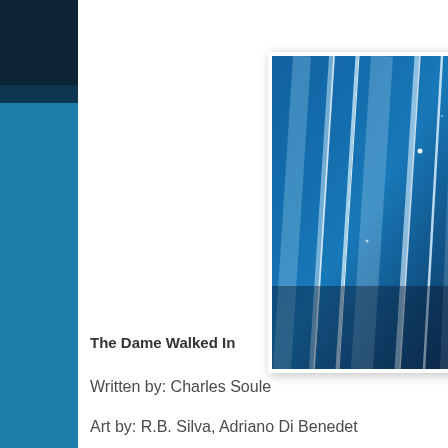[Figure (photo): Blue abstract curtain-like streaks of light on dark blue background, appears to be a comic book cover image]
The Dame Walked In
Written by: Charles Soule
Art by: R.B. Silva, Adriano Di Benedet